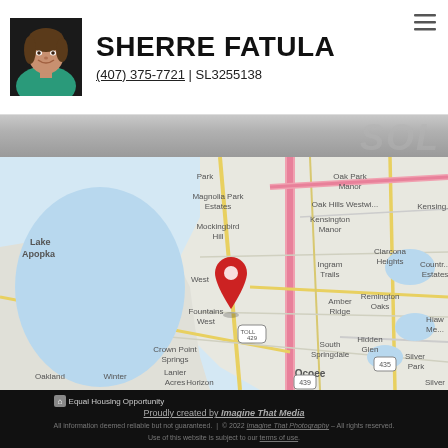[Figure (photo): Agent headshot photo of Sherre Fatula]
SHERRE FATULA
(407) 375-7721 | SL3255138
[Figure (map): Google map showing location near West Bay / Fountains West area, Orlando FL, with a red map pin marker. Visible area includes Lake Apopka, Magnolia Park Estates, Mockingbird Hill, Kensington Manor, Ingram Trails, Clarcona Heights, Remington Oaks, Amber Ridge, Crown Point Springs, Lanier Acres, South Springdale, Hidden Glen, Ocoee, Oakland, Winter, Horizon Oaks, Silver Park, Silver Oaks, Lake Park Estates, Toll 429, route 439.]
Equal Housing Opportunity
Proudly created by Imagine That Media
All information deemed reliable but not guaranteed. | © 2022 Imagine That Photography – All rights reserved.
Use of this website is subject to our terms of use.